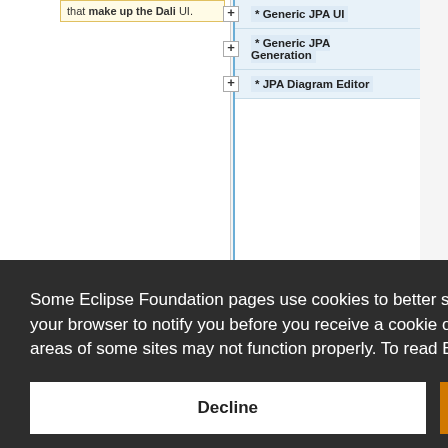that make up the Dali UI.
* Generic JPA UI
* Generic JPA Generation
* JPA Diagram Editor
Some Eclipse Foundation pages use cookies to better serve you when you return to the site. You can set your browser to notify you before you receive a cookie or turn off cookies. If you do so, however, some areas of some sites may not function properly. To read Eclipse Foundation Privacy Policy click here.
Decline
Allow cookies